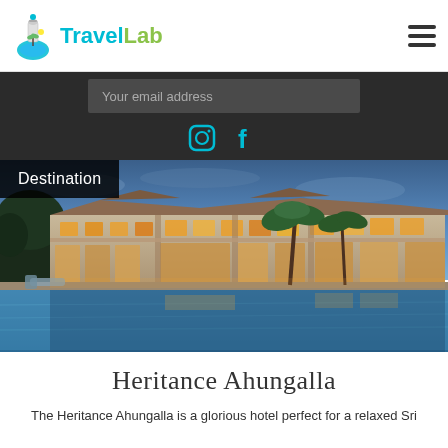[Figure (logo): TravelLab logo with flask/beach icon and teal/green text]
Your email address
[Figure (other): Instagram and Facebook social media icons in teal color]
[Figure (photo): Hotel exterior at dusk with illuminated building, palm trees, and large swimming pool in foreground]
Destination
Heritance Ahungalla
The Heritance Ahungalla is a glorious hotel perfect for a relaxed Sri